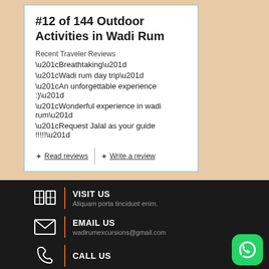#12 of 144 Outdoor Activities in Wadi Rum
Recent Traveler Reviews
“Breathtaking”
“Wadi rum day trip”
“An unforgettable experience :)”
“Wonderful experience in wadi rum”
“Request Jalal as your guide !!!!!”
Read reviews | Write a review
VISIT US
Aliquam porta tincidunt enim.
EMAIL US
wadirumexcursions@gmail.com
CALL US